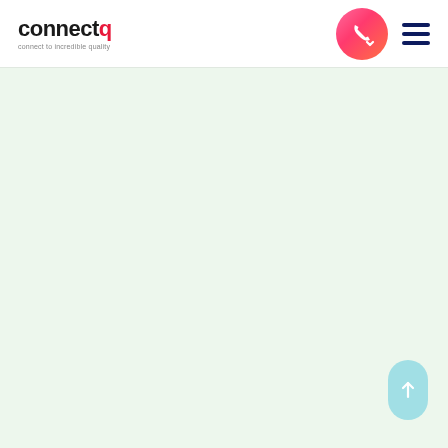[Figure (logo): connectq logo with tagline 'connect to incredible quality']
[Figure (other): Pink/coral gradient circular phone/call button with phone icon and dropdown arrow]
[Figure (other): Dark navy hamburger menu icon with three horizontal bars]
[Figure (other): Light teal/cyan rounded scroll-to-top button with upward arrow]